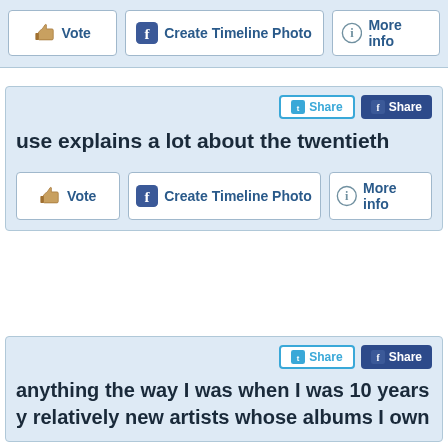[Figure (screenshot): Top partial card showing Vote, Create Timeline Photo, and More info buttons on a light blue background]
[Figure (screenshot): Second card with Twitter Share and Facebook Share buttons, quote text 'use explains a lot about the twentieth', and Vote, Create Timeline Photo, More info buttons]
use explains a lot about the twentieth
[Figure (screenshot): Third card with Twitter Share and Facebook Share buttons, and partial quote text 'anything the way I was when I was 10 years' and 'relatively new artists whose albums I own']